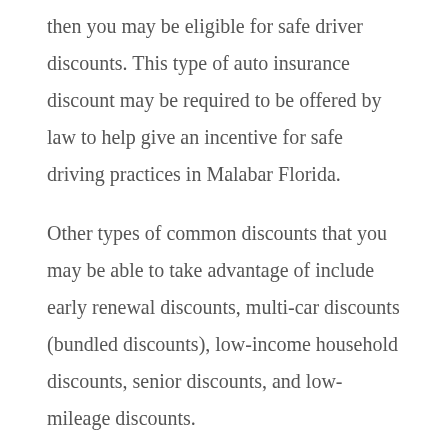then you may be eligible for safe driver discounts. This type of auto insurance discount may be required to be offered by law to help give an incentive for safe driving practices in Malabar Florida.
Other types of common discounts that you may be able to take advantage of include early renewal discounts, multi-car discounts (bundled discounts), low-income household discounts, senior discounts, and low-mileage discounts.
Over a few years, these discounts can add up and make a considerable difference in your insurance cost. If you would like help finding discounts for auto insurance, we can help you locate a Malabar Florida